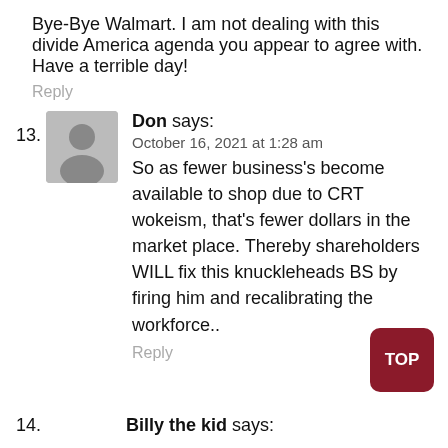Bye-Bye Walmart. I am not dealing with this divide America agenda you appear to agree with. Have a terrible day!
Reply
13. Don says:
October 16, 2021 at 1:28 am
So as fewer business's become available to shop due to CRT wokeism, that's fewer dollars in the market place. Thereby shareholders WILL fix this knuckleheads BS by firing him and recalibrating the workforce..
Reply
14. Billy the kid says: